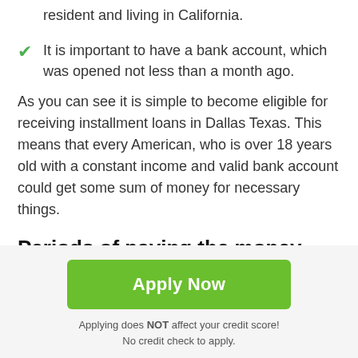resident and living in California.
It is important to have a bank account, which was opened not less than a month ago.
As you can see it is simple to become eligible for receiving installment loans in Dallas Texas. This means that every American, who is over 18 years old with a constant income and valid bank account could get some sum of money for necessary things.
Periods of paying the money back and rates of Installment loans for Dallas, Texas
Apply Now
Applying does NOT affect your credit score!
No credit check to apply.